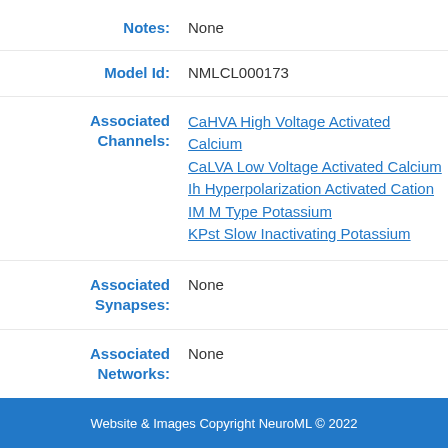Notes: None
Model Id: NMLCL000173
Associated Channels: CaHVA High Voltage Activated Calcium | CaLVA Low Voltage Activated Calcium | Ih Hyperpolarization Activated Cation | IM M Type Potassium | KPst Slow Inactivating Potassium
Associated Synapses: None
Associated Networks: None
Website & Images Copyright NeuroML © 2022